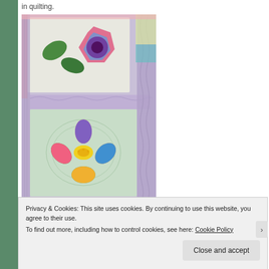in quilting.
[Figure (photo): Close-up photograph of a quilt showing two sections: the top half features a hexagonal flower block in pink, red, and purple tones with green leaves against a white background, with lavender sashing and decorative quilting; the bottom half shows a colorful appliqued daisy/flower block with rainbow-colored petals and a yellow center against a light green background with decorative quilting.]
Privacy & Cookies: This site uses cookies. By continuing to use this website, you agree to their use.
To find out more, including how to control cookies, see here: Cookie Policy
Close and accept